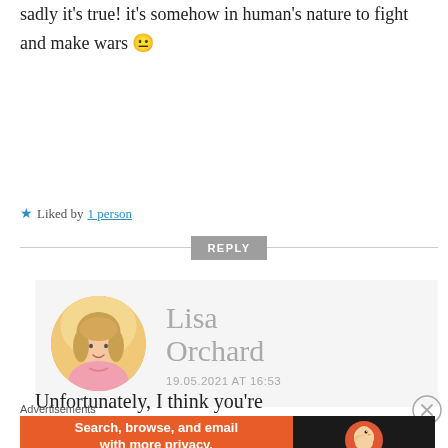sadly it's true! it's somehow in human's nature to fight and make wars 😐
★ Liked by 1 person
REPLY
[Figure (photo): Circular profile photo of Lisa Orchard, a woman with blonde hair wearing a pink top]
Lisa Orchard
19.05.2021 AT 16:53
Unfortunately, I think you're
Advertisements
[Figure (other): DuckDuckGo advertisement banner: 'Search, browse, and email with more privacy. All in One Free App' with DuckDuckGo logo on dark background]